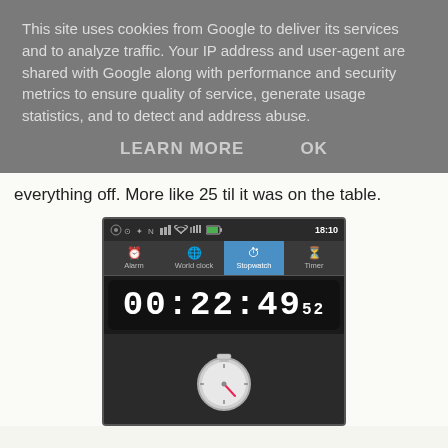This site uses cookies from Google to deliver its services and to analyze traffic. Your IP address and user-agent are shared with Google along with performance and security metrics to ensure quality of service, generate usage statistics, and to detect and address abuse.
LEARN MORE    OK
everything off. More like 25 til it was on the table.
[Figure (screenshot): Android phone screenshot showing a Stopwatch app with digital time display reading 00:22:49 52 and a stopwatch icon below. The app has tabs for Alarm, World clock, Stopwatch (active/highlighted), and Timer.]